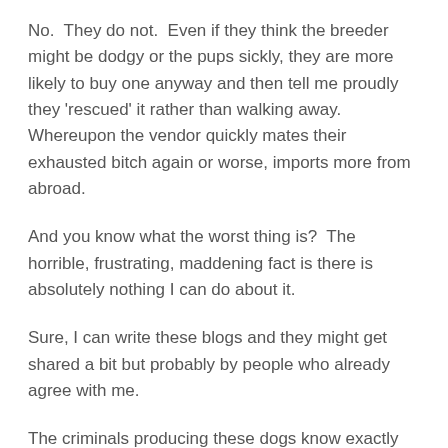No.  They do not.  Even if they think the breeder might be dodgy or the pups sickly, they are more likely to buy one anyway and then tell me proudly they 'rescued' it rather than walking away.  Whereupon the vendor quickly mates their exhausted bitch again or worse, imports more from abroad.
And you know what the worst thing is?  The horrible, frustrating, maddening fact is there is absolutely nothing I can do about it.
Sure, I can write these blogs and they might get shared a bit but probably by people who already agree with me.
The criminals producing these dogs know exactly what is happening but couldn't give a toss.